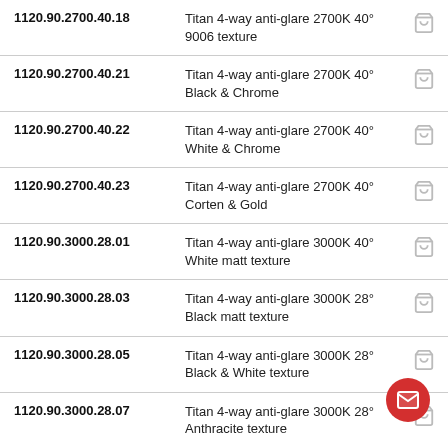| Code | Description | Cart |
| --- | --- | --- |
| 1120.90.2700.40.18 | Titan 4-way anti-glare 2700K 40° 9006 texture |  |
| 1120.90.2700.40.21 | Titan 4-way anti-glare 2700K 40° Black & Chrome |  |
| 1120.90.2700.40.22 | Titan 4-way anti-glare 2700K 40° White & Chrome |  |
| 1120.90.2700.40.23 | Titan 4-way anti-glare 2700K 40° Corten & Gold |  |
| 1120.90.3000.28.01 | Titan 4-way anti-glare 3000K 40° White matt texture |  |
| 1120.90.3000.28.03 | Titan 4-way anti-glare 3000K 28° Black matt texture |  |
| 1120.90.3000.28.05 | Titan 4-way anti-glare 3000K 28° Black & White texture |  |
| 1120.90.3000.28.07 | Titan 4-way anti-glare 3000K 28° Anthracite texture |  |
| 1120.90.3000.28.11 | Titan 4-way anti-glare 3000K 28° Black & |  |